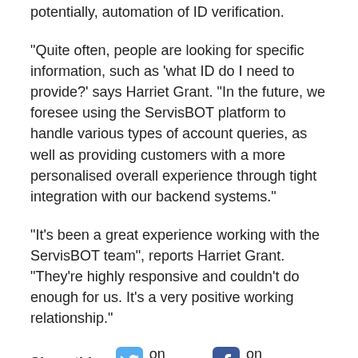potentially, automation of ID verification.
“Quite often, people are looking for specific information, such as ‘what ID do I need to provide?’ says Harriet Grant. “In the future, we foresee using the ServisBOT platform to handle various types of account queries, as well as providing customers with a more personalised overall experience through tight integration with our backend systems.”
“It’s been a great experience working with the ServisBOT team”, reports Harriet Grant. “They’re highly responsive and couldn’t do enough for us. It’s a very positive working relationship.”
Share this: on Twitter on Facebook on LinkedIn